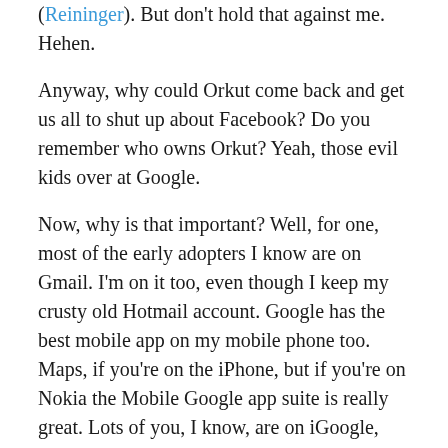(Reininger). But don't hold that against me. Hehen.
Anyway, why could Orkut come back and get us all to shut up about Facebook? Do you remember who owns Orkut? Yeah, those evil kids over at Google.
Now, why is that important? Well, for one, most of the early adopters I know are on Gmail. I'm on it too, even though I keep my crusty old Hotmail account. Google has the best mobile app on my mobile phone too. Maps, if you're on the iPhone, but if you're on Nokia the Mobile Google app suite is really great. Lots of you, I know, are on iGoogle, which looks a little bit like Facebook's profile page. Lots of you are using other things from Google. Picasa, for instance. Or customized Google searches. Or Google Reader. All of which could really benefit from having a Google...